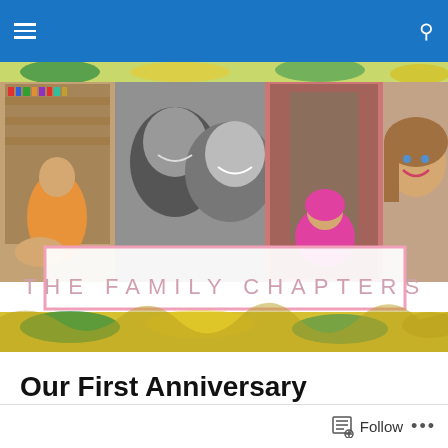Navigation bar with hamburger menu and search icon
[Figure (photo): Blog header image collage: 'The Family Chapters' blog header featuring four photos — a man with a child in a library, a black-and-white couple selfie, a toddler in a pink jacket, and a smiling woman. Pink-bordered text overlay reads 'THE FAMILY CHAPTERS'. Colorful decorative banner strip above and below the photos.]
Our First Anniversary
If you missed it, I posted photos all weekend from our wedding (a year ago) that I never posted on the blog. You can see RECEPTION,  CEREMONY,  WEDDING PARTY,  SET UP & DECORATIONS,  BRIDE AND GROOM,  and
Follow ...